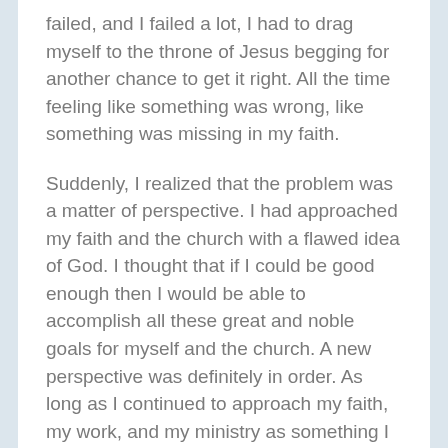failed, and I failed a lot, I had to drag myself to the throne of Jesus begging for another chance to get it right. All the time feeling like something was wrong, like something was missing in my faith.
Suddenly, I realized that the problem was a matter of perspective. I had approached my faith and the church with a flawed idea of God. I thought that if I could be good enough then I would be able to accomplish all these great and noble goals for myself and the church. A new perspective was definitely in order. As long as I continued to approach my faith, my work, and my ministry as something I had to be good enough to accomplish, I would continue to feel like I wasn't doing enough.
I am sure you can sympathize with me. As Christians we have been taught, maybe